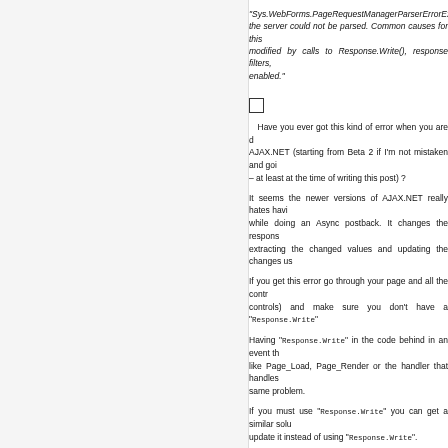"Sys.WebForms.PageRequestManagerParserErrorException: the server could not be parsed. Common causes for this modified by calls to Response.Write(), response filters, enabled."
Have you ever got this kind of error when you are doing AJAX.NET (starting from Beta 2 if I'm not mistaken and going – at least at the time of writing this post) ?
It seems the newer versions of AJAX.NET really hates having while doing an Async postback. It changes the response extracting the changed values and updating the changes us
If you get this error go through your page and all the controls and make sure you don't have a "Response.Write"
Having "Response.Write" in the code behind in an event like Page_Load, Page_Render or the handler that handles same problem.
If you must use "Response.Write" you can get a similar solution update it instead of using "Response.Write".
If you use "Response.Write" in markup pages (ASPX or ASCX "=" syntax (<%= MyProperty %>) or use the same solution control and updating it in the code behind.